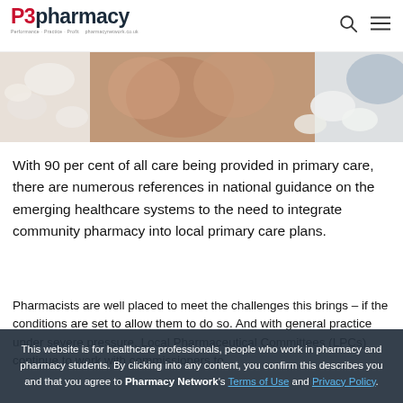P3pharmacy
[Figure (photo): Close-up photo of various white pharmaceutical capsules/pills and hands, cropped at the top of the page]
With 90 per cent of all care being provided in primary care, there are numerous references in national guidance on the emerging healthcare systems to the need to integrate community pharmacy into local primary care plans.
Pharmacists are well placed to meet the challenges this brings – if the conditions are set to allow them to do so. And with general practice under severe pressure, Local Pharmaceutical Committees (LPCs) continue to work with commissioners to...
This website is for healthcare professionals, people who work in pharmacy and pharmacy students. By clicking into any content, you confirm this describes you and that you agree to Pharmacy Network's Terms of Use and Privacy Policy.